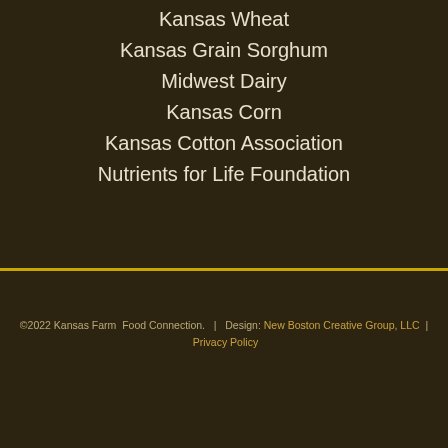Kansas Wheat
Kansas Grain Sorghum
Midwest Dairy
Kansas Corn
Kansas Cotton Association
Nutrients for Life Foundation
©2022 Kansas Farm Food Connection.  |  Design: New Boston Creative Group, LLC  |  Privacy Policy